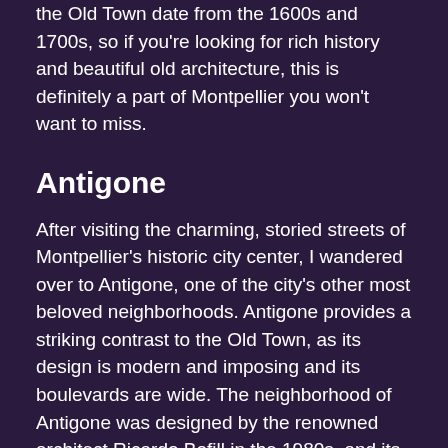the Old Town date from the 1600s and 1700s, so if you're looking for rich history and beautiful old architecture, this is definitely a part of Montpellier you won't want to miss.
Antigone
After visiting the charming, storied streets of Montpellier's historic city center, I wandered over to Antigone, one of the city's other most beloved neighborhoods. Antigone provides a striking contrast to the Old Town, as its design is modern and imposing and its boulevards are wide. The neighborhood of Antigone was designed by the renowned architect Ricardo Bofill in the 1980s, and its massive neoclassical buildings are just as interesting as the historic center's old, carefully preserved buildings. The fact that you can walk